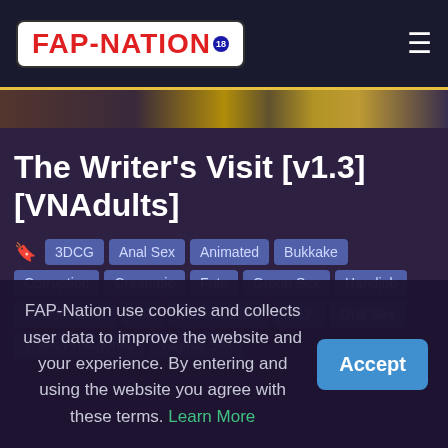FAP-NATION
The Writer's Visit [v1.3] [VNAdults]
3DCG
Anal Sex
Animated
Bukkake
Corruption
Creampie
Futa
Group Sex
Handjob
Kinetic Novel
Loli
Masturbation
MILF
Oral Sex
Trans Protagonist
Vaginal Sex
FAP-Nation use cookies and collects user data to improve the website and your experience. By entering and using the website you agree with these terms. Learn More
Accept